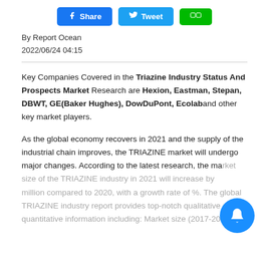Share | Tweet | [LINE icon]
By Report Ocean
2022/06/24 04:15
Key Companies Covered in the Triazine Industry Status And Prospects Market Research are Hexion, Eastman, Stepan, DBWT, GE(Baker Hughes), DowDuPont, Ecolab and other key market players.
As the global economy recovers in 2021 and the supply of the industrial chain improves, the TRIAZINE market will undergo major changes. According to the latest research, the market size of the TRIAZINE industry in 2021 will increase by million compared to 2020, with a growth rate of %. The global TRIAZINE industry report provides top-notch qualitative and quantitative information including: Market size (2017-2021...